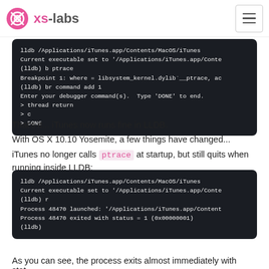XS-labs
[Figure (screenshot): Terminal/LLDB session showing: lldb /Applications/iTunes.app/Contents/MacOS/iTunes, Current executable set to '/Applications/iTunes.app/Conte...', (lldb) b ptrace, Breakpoint 1: where = libsystem_kernel.dylib`__ptrace, ac..., (lldb) br command add 1, Enter your debugger command(s). Type 'DONE' to end., > thread return, > c, > DONE]
That's it... iTunes now runs fine in LLDB.
With OS X 10.10 Yosemite, a few things have changed...
iTunes no longer calls ptrace at startup, but still quits when running inside LLDB:
[Figure (screenshot): Terminal/LLDB session showing: lldb /Applications/iTunes.app/Contents/MacOS/iTunes, Current executable set to '/Applications/iTunes.app/Conte...', (lldb) r, Process 48470 launched: '/Applications/iTunes.app/Content...', Process 48470 exited with status = 1 (0x00000001), (lldb)]
As you can see, the process exits almost immediately with status...